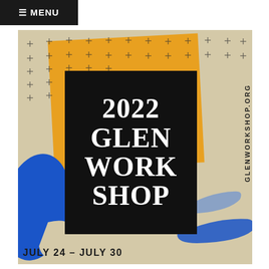≡ MENU
[Figure (illustration): 2022 Glen Workshop promotional poster with black, yellow, blue decorative shapes and plus signs on a tan background. Central black box with title text '2022 GLEN WORK SHOP', vertical URL text 'GLENWORKSHOP.ORG', and date 'JULY 24 – JULY 30' at bottom.]
2022 GLEN WORK SHOP
GLENWORKSHOP.ORG
JULY 24 – JULY 30